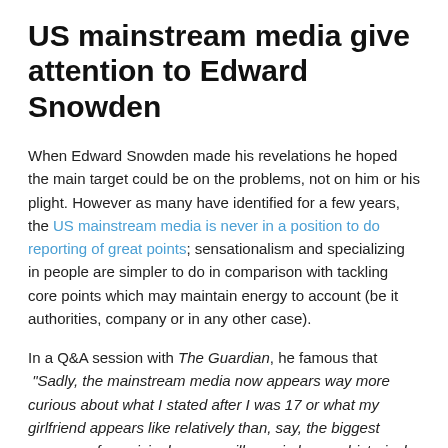US mainstream media give attention to Edward Snowden
When Edward Snowden made his revelations he hoped the main target could be on the problems, not on him or his plight. However as many have identified for a few years, the US mainstream media is never in a position to do reporting of great points; sensationalism and specializing in people are simpler to do in comparison with tackling core points which may maintain energy to account (be it authorities, company or in any other case).
In a Q&A session with The Guardian, he famous that "Sadly, the mainstream media now appears way more curious about what I stated after I was 17 or what my girlfriend appears like relatively than, say, the biggest program of suspicionless surveillance in human historical past."